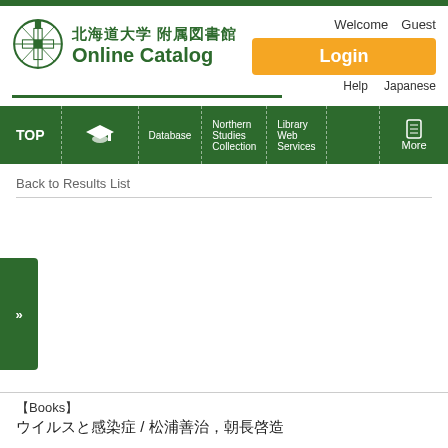北海道大学 附属図書館 Online Catalog
Welcome  Guest
Login
Help   Japanese
[Figure (logo): Hokkaido University library crest logo]
TOP  Database  Northern Studies Collection  Library Web Services  More
Back to Results List
»
【Books】
ウイルスと感染症 / 松浦善治，朝長啓造